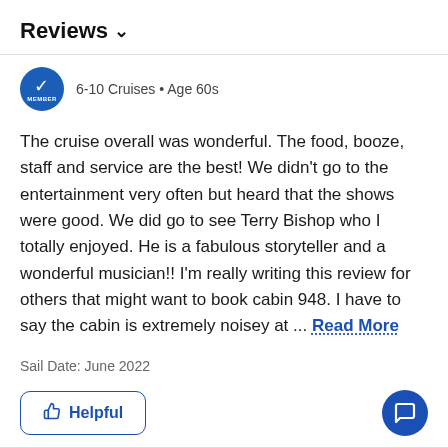Reviews ∨
6-10 Cruises • Age 60s
The cruise overall was wonderful. The food, booze, staff and service are the best! We didn't go to the entertainment very often but heard that the shows were good. We did go to see Terry Bishop who I totally enjoyed. He is a fabulous storyteller and a wonderful musician!! I'm really writing this review for others that might want to book cabin 948. I have to say the cabin is extremely noisey at ... Read More
Sail Date: June 2022
Helpful